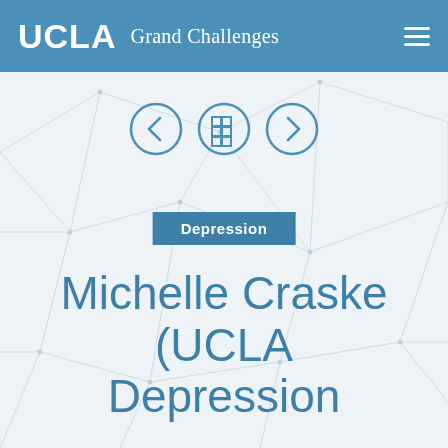UCLA Grand Challenges
[Figure (screenshot): Three circular navigation icons: left arrow, grid/home, right arrow — outlined in blue on white background]
Depression
Michelle Craske (UCLA Depression